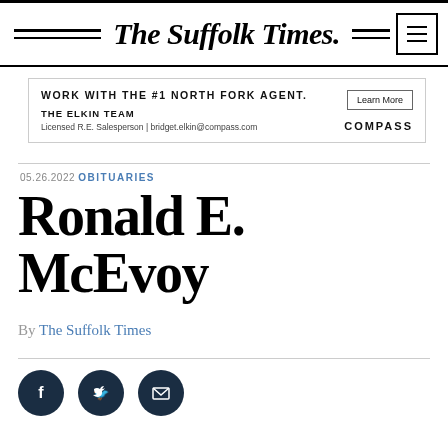The Suffolk Times.
[Figure (other): Advertisement banner for The Elkin Team / Compass: 'WORK WITH THE #1 NORTH FORK AGENT. THE ELKIN TEAM Licensed R.E. Salesperson | bridget.elkin@compass.com COMPASS' with Learn More button]
05.26.2022 OBITUARIES
Ronald E. McEvoy
By The Suffolk Times
[Figure (other): Social sharing icons: Facebook, Twitter, Email — dark circular buttons]